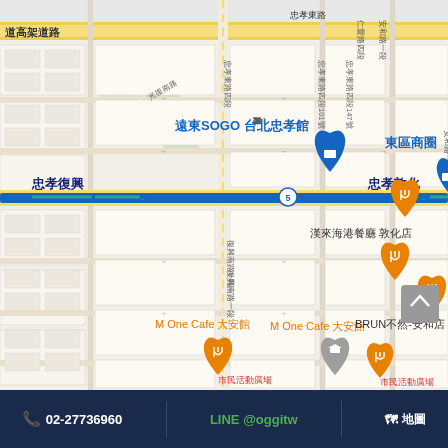[Figure (map): Google Maps view of Zhongxiao Fuxing / Zhongxiao Dunhua area in Taipei, Taiwan, showing landmarks: 遠東SOGO 台北忠孝館, 東區商圈, 忠孝復興 MRT station, 忠孝敦化 MRT station, 漢來海港餐廳 敦化店, M One Cafe 大安館, BRUN不然-安和店. Streets shown include the elevated highway (高架道路) and Zhongxiao E Road with MRT Blue Line.]
02-27736960
LINE @oggitw
地圖